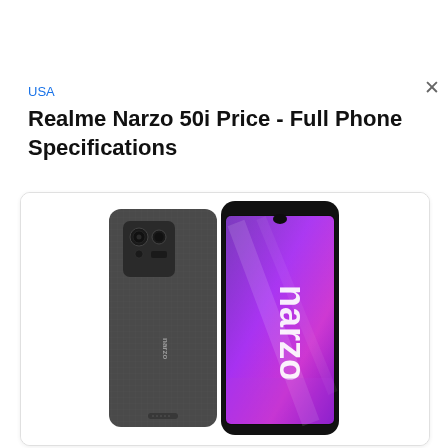USA
Realme Narzo 50i Price - Full Phone Specifications
[Figure (photo): Realme Narzo 50i smartphone shown from two angles: back view showing dark grey textured body with dual cameras and narzo branding, and front view showing vivid purple screen with narzo logo displayed vertically]